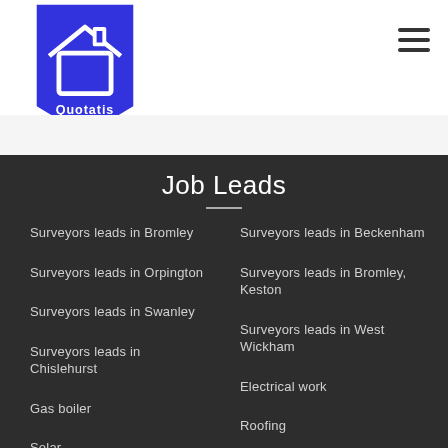Quotatis
Job Leads
Surveyors leads in Bromley
Surveyors leads in Beckenham
Surveyors leads in Orpington
Surveyors leads in Bromley, Keston
Surveyors leads in Swanley
Surveyors leads in West Wickham
Surveyors leads in Chislehurst
Electrical work
Gas boiler
Roofing
Solar
Driveway